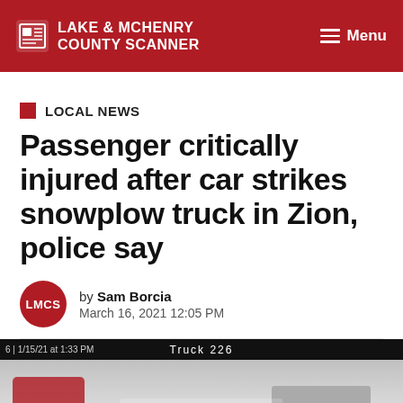LAKE & MCHENRY COUNTY SCANNER | Menu
LOCAL NEWS
Passenger critically injured after car strikes snowplow truck in Zion, police say
by Sam Borcia
March 16, 2021 12:05 PM
[Figure (screenshot): Video still showing dashboard camera footage labeled 'Truck 226' with timestamp '1/15/21 at 1:33 PM', showing a snowy outdoor scene]